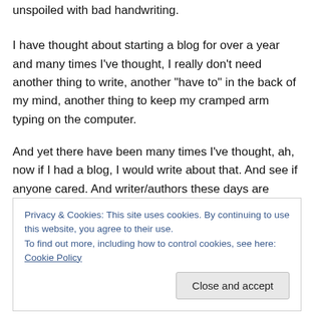unspoiled with bad handwriting.
I have thought about starting a blog for over a year and many times I've thought, I really don't need another thing to write, another “have to” in the back of my mind, another thing to keep my cramped arm typing on the computer.
And yet there have been many times I've thought, ah, now if I had a blog, I would write about that. And see if anyone cared. And writer/authors these days are supposed to have something called an “author platform,” a place to connect with audiences and to keep them from their latest
Privacy & Cookies: This site uses cookies. By continuing to use this website, you agree to their use.
To find out more, including how to control cookies, see here: Cookie Policy
have patience.